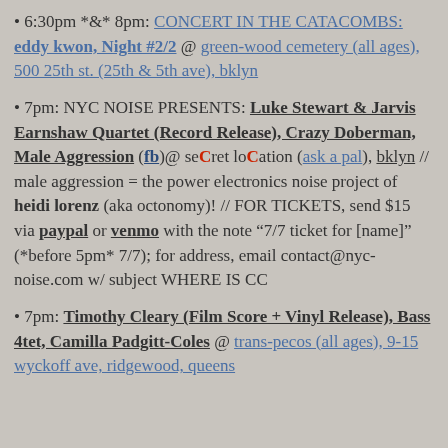• 6:30pm *&* 8pm: CONCERT IN THE CATACOMBS: eddy kwon, Night #2/2 @ green-wood cemetery (all ages), 500 25th st. (25th & 5th ave), bklyn
• 7pm: NYC NOISE PRESENTS: Luke Stewart & Jarvis Earnshaw Quartet (Record Release), Crazy Doberman, Male Aggression (fb)@ seCret loCation (ask a pal), bklyn // male aggression = the power electronics noise project of heidi lorenz (aka octonomy)! // FOR TICKETS, send $15 via paypal or venmo with the note "7/7 ticket for [name]" (*before 5pm* 7/7); for address, email contact@nyc-noise.com w/ subject WHERE IS CC
• 7pm: Timothy Cleary (Film Score + Vinyl Release), Bass 4tet, Camilla Padgitt-Coles @ trans-pecos (all ages), 9-15 wyckoff ave, ridgewood, queens